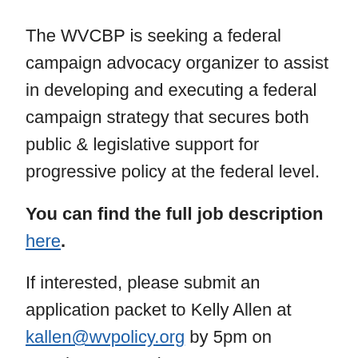The WVCBP is seeking a federal campaign advocacy organizer to assist in developing and executing a federal campaign strategy that secures both public & legislative support for progressive policy at the federal level.
You can find the full job description here.
If interested, please submit an application packet to Kelly Allen at kallen@wvpolicy.org by 5pm on Monday, September 13, 2021. Application packet should include resume, an example of a campaign workplan you've executed, and a link to an earned media hit you've generated.